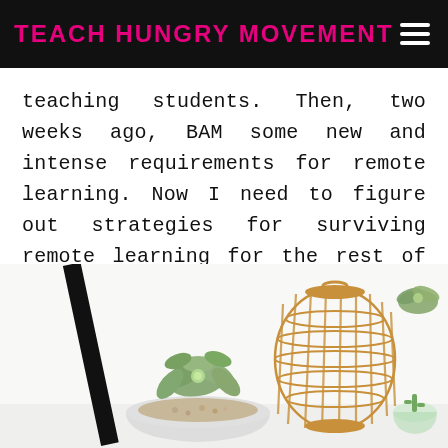TEACH HUNGRY MOVEMENT
teaching students. Then, two weeks ago, BAM some new and intense requirements for remote learning. Now I need to figure out strategies for surviving remote learning for the rest of the year.
[Figure (photo): Decorative photo showing succulents in a white bowl, a wicker lantern, and a small glass terrarium on a white surface.]